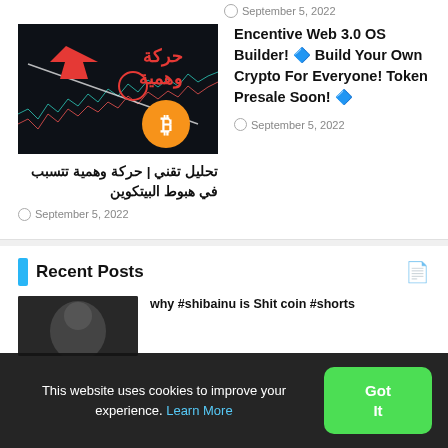September 5, 2022
[Figure (screenshot): Bitcoin price chart thumbnail with Arabic text 'حركة وهمية' (fake movement) in red, a red arrow pointing down, and a Bitcoin coin graphic on dark background]
تحليل تقني | حركة وهمية تتسبب في هبوط البيتكوين
September 5, 2022
Encentive Web 3.0 OS Builder! 🔷 Build Your Own Crypto For Everyone! Token Presale Soon! 🔷
September 5, 2022
Recent Posts
[Figure (photo): Dark thumbnail image for a recent post]
why #shibainu is Shit coin #shorts